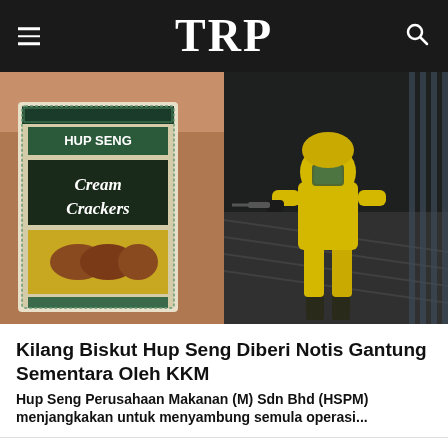TRP
[Figure (photo): Two side-by-side images: left shows Hup Seng Cream Crackers biscuit tin/package; right shows a person in a yellow hazmat/protective suit and mask.]
Kilang Biskut Hup Seng Diberi Notis Gantung Sementara Oleh KKM
Hup Seng Perusahaan Makanan (M) Sdn Bhd (HSPM) menjangkakan untuk menyambung semula operasi...
The Best Smart Beds in Virginia (View Now)